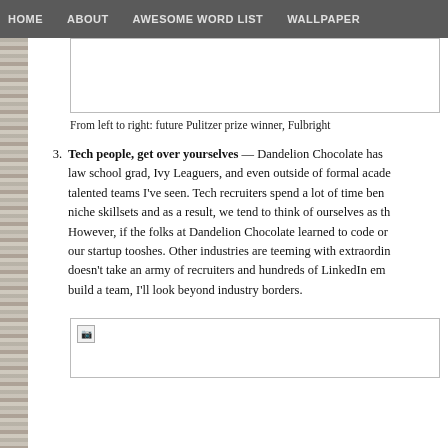HOME   ABOUT   AWESOME WORD LIST   WALLPAPER
[Figure (photo): Top image box, partially visible, cropped at top]
From left to right: future Pulitzer prize winner, Fulbright…
3. Tech people, get over yourselves — Dandelion Chocolate has … law school grad, Ivy Leaguers, and even outside of formal acade… talented teams I've seen. Tech recruiters spend a lot of time ben… niche skillsets and as a result, we tend to think of ourselves as th… However, if the folks at Dandelion Chocolate learned to code or… our startup tooshes. Other industries are teeming with extraordi… doesn't take an army of recruiters and hundreds of LinkedIn em… build a team, I'll look beyond industry borders.
[Figure (photo): Bottom image box with broken image icon visible]